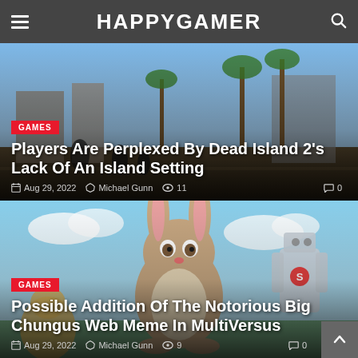HAPPYGAMER
[Figure (screenshot): Dead Island 2 game screenshot showing tropical city street with zombie action]
GAMES
Players Are Perplexed By Dead Island 2's Lack Of An Island Setting
Aug 29, 2022  Michael Gunn  11  0
[Figure (screenshot): MultiVersus character art showing Big Chungus (large rabbit) and other cartoon characters]
GAMES
Possible Addition Of The Notorious Big Chungus Web Meme In MultiVersus
Aug 29, 2022  Michael Gunn  9  0